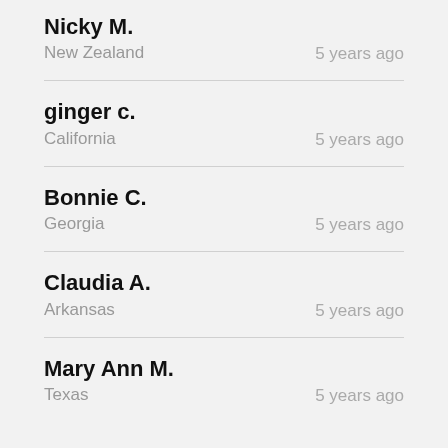Nicky M.
New Zealand
5 years ago
ginger c.
California
5 years ago
Bonnie C.
Georgia
5 years ago
Claudia A.
Arkansas
5 years ago
Mary Ann M.
Texas
5 years ago